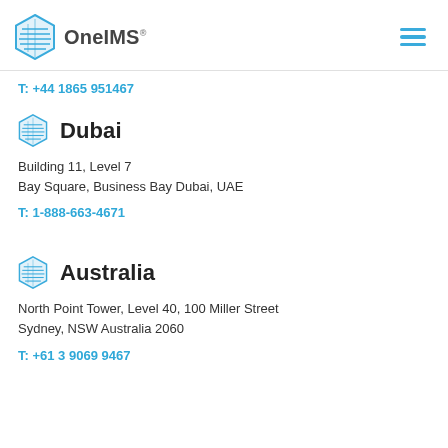OneIMS
T: +44 1865 951467
Dubai
Building 11, Level 7
Bay Square, Business Bay Dubai, UAE
T: 1-888-663-4671
Australia
North Point Tower, Level 40, 100 Miller Street
Sydney, NSW Australia 2060
T: +61 3 9069 9467